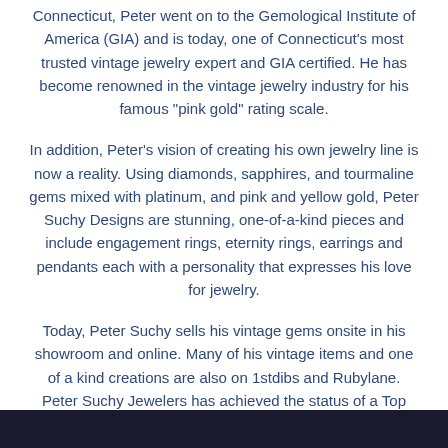Connecticut, Peter went on to the Gemological Institute of America (GIA) and is today, one of Connecticut's most trusted vintage jewelry expert and GIA certified. He has become renowned in the vintage jewelry industry for his famous "pink gold" rating scale.
In addition, Peter's vision of creating his own jewelry line is now a reality. Using diamonds, sapphires, and tourmaline gems mixed with platinum, and pink and yellow gold, Peter Suchy Designs are stunning, one-of-a-kind pieces and include engagement rings, eternity rings, earrings and pendants each with a personality that expresses his love for jewelry.
Today, Peter Suchy sells his vintage gems onsite in his showroom and online. Many of his vintage items and one of a kind creations are also on 1stdibs and Rubylane. Peter Suchy Jewelers has achieved the status of a Top Rated Power Seller on eBay, with over 5,000 transactions to date.
[Figure (photo): Dark bar at bottom of page, partial image beginning]